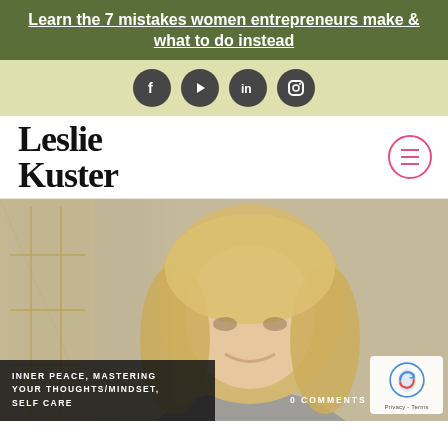Learn the 7 mistakes women entrepreneurs make & what to do instead
[Figure (other): Social media icons: Facebook, YouTube, LinkedIn, Instagram on olive/yellow background]
Leslie Kuster
[Figure (photo): Woman with blonde hair smiling, video thumbnail image]
INNER PEACE, MASTERING YOUR THOUGHTS/MINDSET, SELF CARE
0 COMMENTS